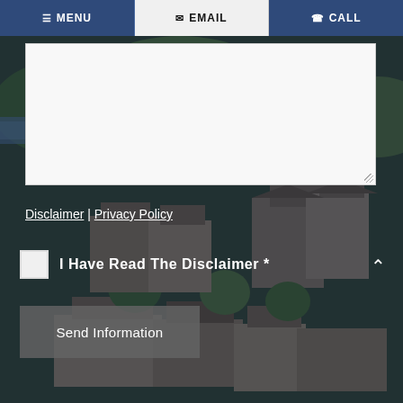MENU | EMAIL | CALL
[Figure (screenshot): Aerial photograph of residential townhouse/apartment complex surrounded by trees, used as background image]
Disclaimer | Privacy Policy
I Have Read The Disclaimer *
Send Information